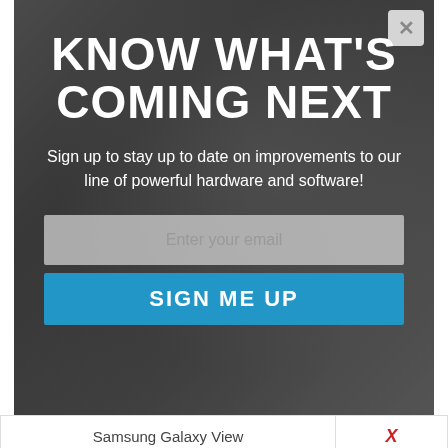[Figure (screenshot): Modal popup overlay with dark background showing hardware/equipment image. Contains a large bold white headline 'KNOW WHAT'S COMING NEXT', subtitle text, an email input field placeholder, and a blue 'SIGN ME UP' button. A close button (X) appears in the top right corner.]
KNOW WHAT'S COMING NEXT
Sign up to stay up to date on improvements to our line of powerful hardware and software!
| Samsung Galaxy View | X |
| Samsung Galaxy A5 | X |
| Samsung Galaxy A7 | X |